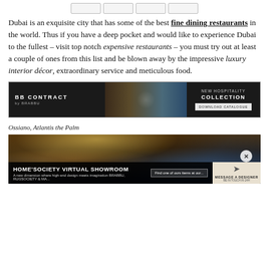[Figure (other): Navigation thumbnail boxes at top of page]
Dubai is an exquisite city that has some of the best fine dining restaurants in the world. Thus if you have a deep pocket and would like to experience Dubai to the fullest – visit top notch expensive restaurants – you must try out at least a couple of ones from this list and be blown away by the impressive luxury interior décor, extraordinary service and meticulous food.
[Figure (other): BB Contract by Brabbu advertisement banner - New Hospitality Collection, Download Catalogue]
Ossiano, Atlantis the Palm
[Figure (photo): Interior photo of a luxury restaurant with chandelier lighting and blue-lit seating area, with overlay ads for Home'Society Virtual Showroom and Message A Designer]